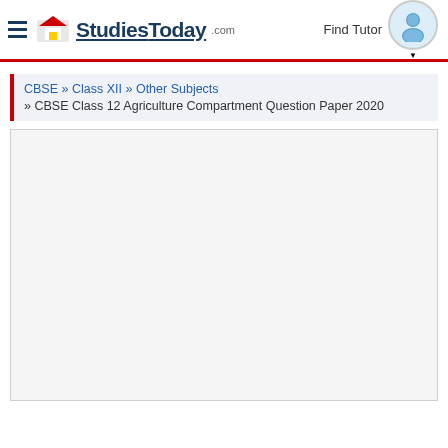StudiesToday.com — Find Tutor
CBSE » Class XII » Other Subjects » CBSE Class 12 Agriculture Compartment Question Paper 2020
[Figure (screenshot): Blank content area with social sharing sidebar buttons (WhatsApp, Email, Facebook)]